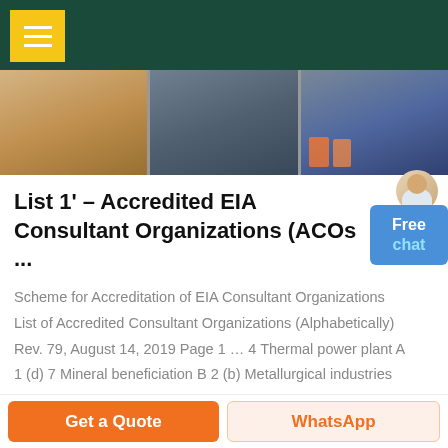[Figure (photo): Three industrial/construction photos in a horizontal strip: sandy/earthy surface, industrial factory floor, construction workers on site]
List 1' – Accredited EIA Consultant Organizations (ACOs ...
Scheme for Accreditation of EIA Consultant Organizations List of Accredited Consultant Organizations (Alphabetically) Rev. 79, August 14, 2019 Page 1 … 4 Thermal power plant A 1 (d) 7 Mineral beneficiation B 2 (b) Metallurgical industries (secondary ferrous only) … (industries based on processing of petroleum fractions & ...
[Figure (illustration): Person in white coat gesturing, with blue Free chat button overlay]
Free
chat
Get a Quote   WhatsApp